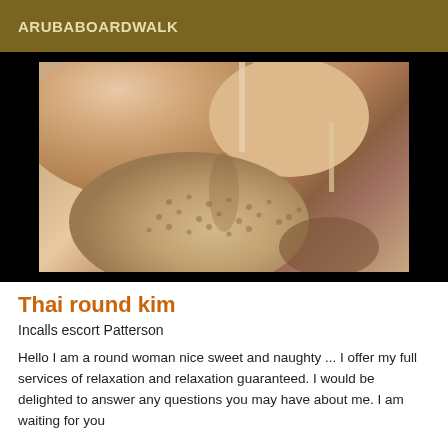ARUBABOARDWALK
[Figure (photo): Close-up photo of a woman's chest wearing a patterned beige/tan bra, on black background]
Thai round kim
Incalls escort Patterson
Hello I am a round woman nice sweet and naughty ... I offer my full services of relaxation and relaxation guaranteed. I would be delighted to answer any questions you may have about me. I am waiting for you